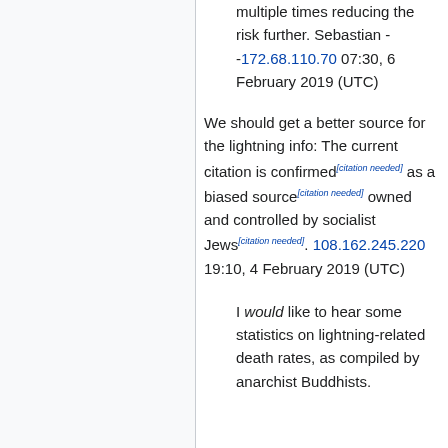multiple times reducing the risk further. Sebastian - -172.68.110.70 07:30, 6 February 2019 (UTC)
We should get a better source for the lightning info: The current citation is confirmed[citation needed] as a biased source[citation needed] owned and controlled by socialist Jews[citation needed]. 108.162.245.220 19:10, 4 February 2019 (UTC)
I would like to hear some statistics on lightning-related death rates, as compiled by anarchist Buddhists.